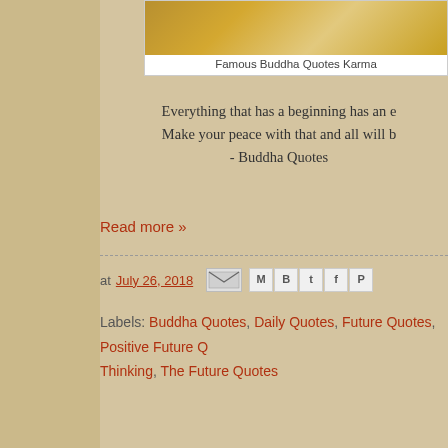[Figure (photo): Partial view of a Buddha statue or textured golden surface image card with caption 'Famous Buddha Quotes Karma']
Famous Buddha Quotes Karma
Everything that has a beginning has an end. Make your peace with that and all will be well. - Buddha Quotes
Read more »
at July 26, 2018
Labels: Buddha Quotes, Daily Quotes, Future Quotes, Positive Future Quotes, Positive Thinking, The Future Quotes